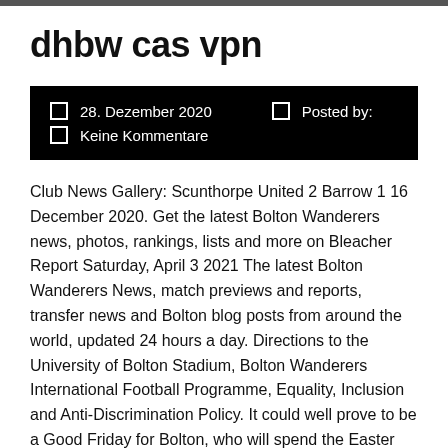dhbw cas vpn
28. Dezember 2020   Posted by:
Keine Kommentare
Club News Gallery: Scunthorpe United 2 Barrow 1 16 December 2020. Get the latest Bolton Wanderers news, photos, rankings, lists and more on Bleacher Report Saturday, April 3 2021 The latest Bolton Wanderers News, match previews and reports, transfer news and Bolton blog posts from around the world, updated 24 hours a day. Directions to the University of Bolton Stadium, Bolton Wanderers International Football Programme, Equality, Inclusion and Anti-Discrimination Policy. It could well prove to be a Good Friday for Bolton, who will spend the Easter weekend in the automatic promotion places should they beat